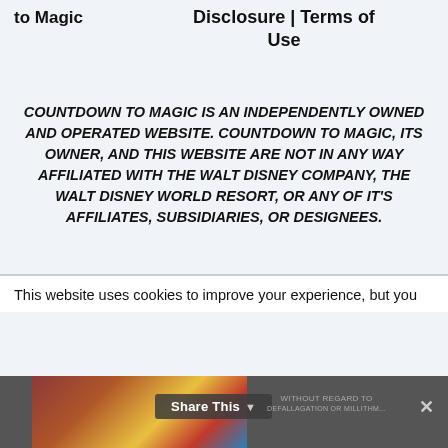to Magic | Disclosure | Terms of Use
COUNTDOWN TO MAGIC IS AN INDEPENDENTLY OWNED AND OPERATED WEBSITE. COUNTDOWN TO MAGIC, ITS OWNER, AND THIS WEBSITE ARE NOT IN ANY WAY AFFILIATED WITH THE WALT DISNEY COMPANY, THE WALT DISNEY WORLD RESORT, OR ANY OF IT'S AFFILIATES, SUBSIDIARIES, OR DESIGNEES.
This website uses cookies to improve your experience, but you
[Figure (screenshot): Share This overlay bar with an advertisement image of an airplane and text WITHOUT REGARD TO, with a close button (x) on the right.]